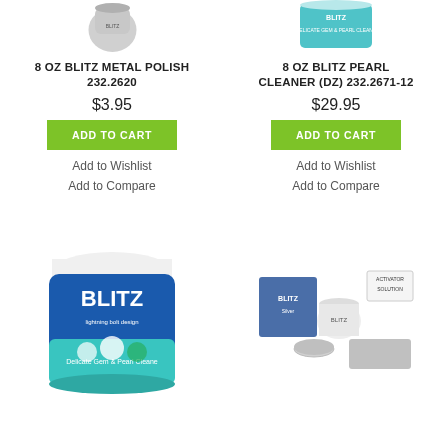[Figure (photo): 8 oz Blitz Metal Polish product jar, top-cropped]
8 OZ BLITZ METAL POLISH 232.2620
$3.95
ADD TO CART
Add to Wishlist
Add to Compare
[Figure (photo): 8 oz Blitz Pearl Cleaner (DZ) product jar, top-cropped]
8 OZ BLITZ PEARL CLEANER (DZ) 232.2671-12
$29.95
ADD TO CART
Add to Wishlist
Add to Compare
[Figure (photo): Blitz Delicate Gem & Pearl Cleaner large blue and teal jar]
[Figure (photo): Blitz silver care kit with multiple product containers]